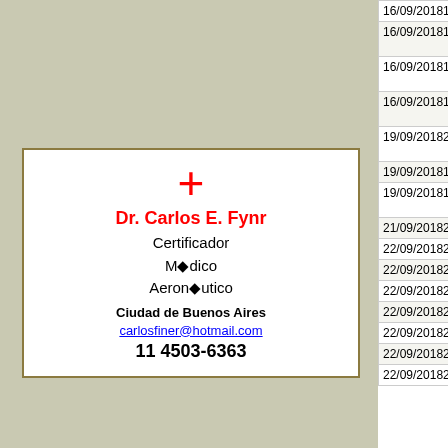[Figure (other): Business card for Dr. Carlos E. Fynr, Certificador Médico Aeronáutico, with red cross logo, email carlosfiner@hotmail.com, phone 11 4503-6363, Ciudad de Buenos Aires]
[Figure (photo): Broken image placeholder in the lower left panel]
| Start Date | End Date | Event Name |
| --- | --- | --- |
| 16/09/2018 | 16/09/2018 | National Battle of Britain Cere... |
| 16/09/2018 | 16/09/2018 | Arnhem Airborne Landings Commemoration |
| 16/09/2018 | 16/09/2018 | Flandres Lys Airshow - Meeting Aérien |
| 16/09/2018 | 16/09/2018 | Ocean City Roar at the Shore Airshow |
| 19/09/2018 | 23/09/2018 | Africa Aerospace & Defence - 2018 |
| 19/09/2018 | 19/09/2018 | Fort Erie Snowbirds display |
| 19/09/2018 | 19/09/2018 | Glorias del Ejército (Armed Forces Day) |
| 21/09/2018 | 23/09/2018 | California Capital Airshow |
| 22/09/2018 | 23/09/2018 | Athens Flying Week 2018 |
| 22/09/2018 | 22/09/2018 | Lake of the Ozarks Air Show 2... |
| 22/09/2018 | 23/09/2018 | Duxford Battle of Britain Air Sh... |
| 22/09/2018 | 23/09/2018 | NAS Oceana Air Show |
| 22/09/2018 | 23/09/2018 | Osan Air Power Day 2018 |
| 22/09/2018 | 23/09/2018 | Crawford County Airshow |
| 22/09/2018 | 23/09/2018 | Wings over Wine Country Air... |